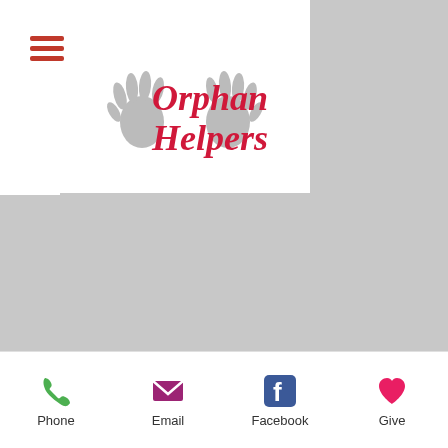[Figure (logo): Orphan Helpers logo with two handprint icons and red cursive text reading 'Orphan Helpers']
[Figure (photo): Large gray placeholder image area (main content region)]
Phone  Email  Facebook  Give